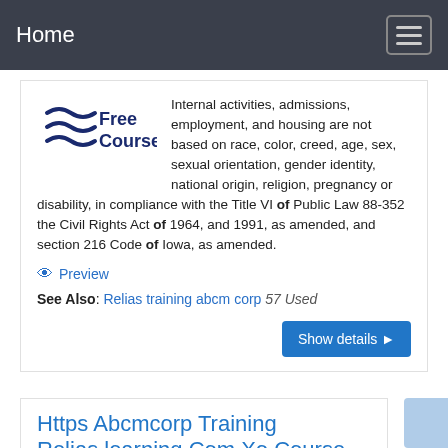Home
[Figure (logo): Free Courses logo with stylized letter E made of three wave lines on the left and 'Free Courses' text in dark blue]
Internal activities, admissions, employment, and housing are not based on race, color, creed, age, sex, sexual orientation, gender identity, national origin, religion, pregnancy or disability, in compliance with the Title VI of Public Law 88-352 the Civil Rights Act of 1964, and 1991, as amended, and section 216 Code of Iowa, as amended.
Preview
See Also: Relias training abcm corp 57 Used
Show details
Https Abcmcorp Training Relias learning Com Xo Course